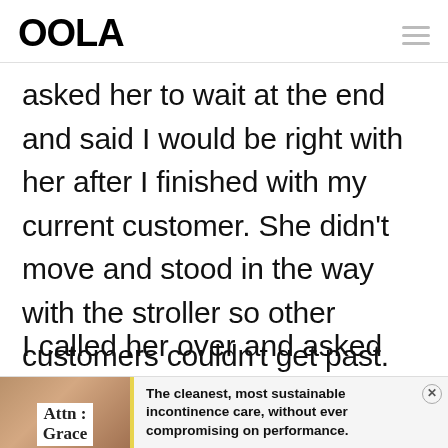OOLA
asked her to wait at the end and said I would be right with her after I finished with my current customer. She didn't move and stood in the way with the stroller so other customers couldn't get past.
I called her over and asked what the
[Figure (other): Advertisement banner for Attn: Grace incontinence care product. Shows product image on left with yellow divider, text reads: The cleanest, most sustainable incontinence care, without ever compromising on performance.]